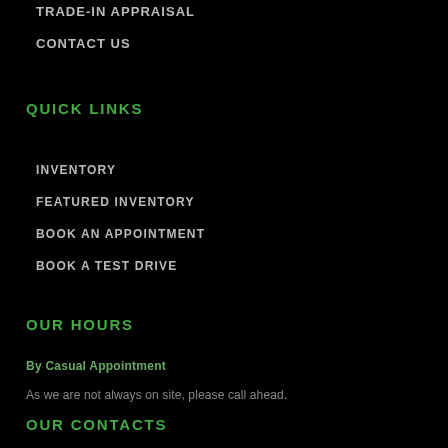TRADE-IN APPRAISAL
CONTACT US
QUICK LINKS
INVENTORY
FEATURED INVENTORY
BOOK AN APPOINTMENT
BOOK A TEST DRIVE
OUR HOURS
By Casual Appointment
As we are not always on site, please call ahead.
OUR CONTACTS